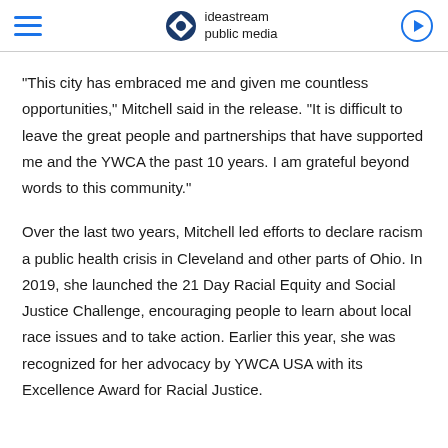ideastream public media
“This city has embraced me and given me countless opportunities,” Mitchell said in the release. “It is difficult to leave the great people and partnerships that have supported me and the YWCA the past 10 years. I am grateful beyond words to this community.”
Over the last two years, Mitchell led efforts to declare racism a public health crisis in Cleveland and other parts of Ohio. In 2019, she launched the 21 Day Racial Equity and Social Justice Challenge, encouraging people to learn about local race issues and to take action. Earlier this year, she was recognized for her advocacy by YWCA USA with its Excellence Award for Racial Justice.